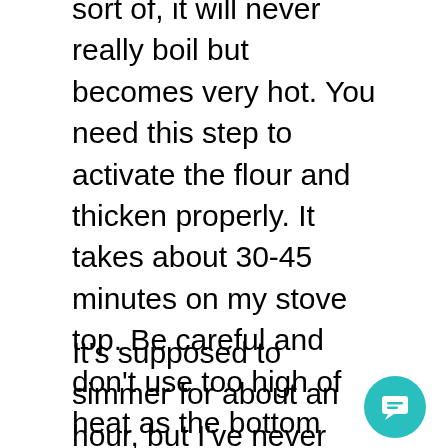sort of, it will never really boil but becomes very hot. You need this step to activate the flour and thicken properly. It takes about 30-45 minutes on my stove top. Be careful and don't use too high of heat as the bottom burns and the soup will be ruined. I stir about every 5-7 minutes during this process, checking the bottom of the pot with a wooden spoon.
42
It's supposed to simmer for about an hour, but I've never had my family wait